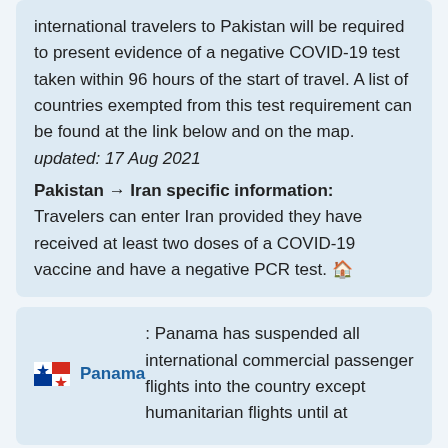international travelers to Pakistan will be required to present evidence of a negative COVID-19 test taken within 96 hours of the start of travel. A list of countries exempted from this test requirement can be found at the link below and on the map. updated: 17 Aug 2021
Pakistan → Iran specific information:
Travelers can enter Iran provided they have received at least two doses of a COVID-19 vaccine and have a negative PCR test. 🏠
Panama: Panama has suspended all international commercial passenger flights into the country except humanitarian flights until at